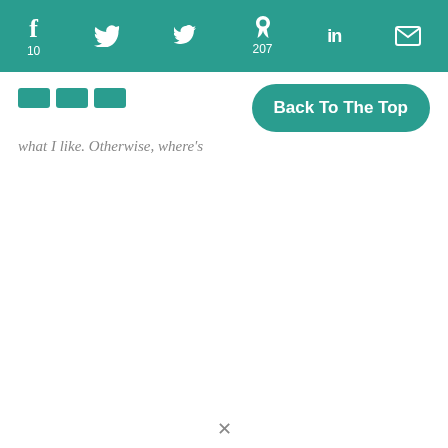Social share toolbar: f 10, twitter, p 207, in, email | Back To The Top button
[Figure (screenshot): Social sharing toolbar with teal background showing Facebook (f, 10), Twitter (bird icon), Pinterest (p, 207), LinkedIn (in), and Email (envelope) icons in white on teal bar]
Back To The Top
what I like. Otherwise, where's